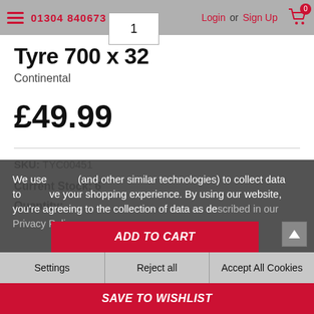01304 840673  Login or Sign Up  0
Tyre 700 x 32
Continental
£49.99
SKU: TYC00451
Current Stock: 6
Quantity:
We use cookies (and other similar technologies) to collect data to improve your shopping experience. By using our website, you're agreeing to the collection of data as described in our Privacy Policy.
ADD TO CART
Settings | Reject all | Accept All Cookies
SAVE TO WISHLIST